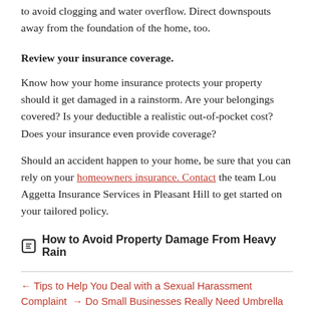to avoid clogging and water overflow. Direct downspouts away from the foundation of the home, too.
Review your insurance coverage.
Know how your home insurance protects your property should it get damaged in a rainstorm. Are your belongings covered? Is your deductible a realistic out-of-pocket cost? Does your insurance even provide coverage?
Should an accident happen to your home, be sure that you can rely on your homeowners insurance. Contact the team Lou Aggetta Insurance Services in Pleasant Hill to get started on your tailored policy.
How to Avoid Property Damage From Heavy Rain
← Tips to Help You Deal with a Sexual Harassment Complaint → Do Small Businesses Really Need Umbrella